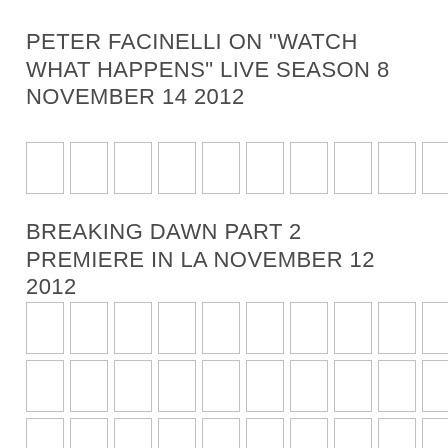PETER FACINELLI ON "WATCH WHAT HAPPENS" LIVE SEASON 8 NOVEMBER 14 2012
[Figure (other): Grid of 10 empty thumbnail image placeholders in a single row]
BREAKING DAWN PART 2 PREMIERE IN LA NOVEMBER 12 2012
[Figure (other): Grid of empty thumbnail image placeholders, 10 columns and 5 rows]